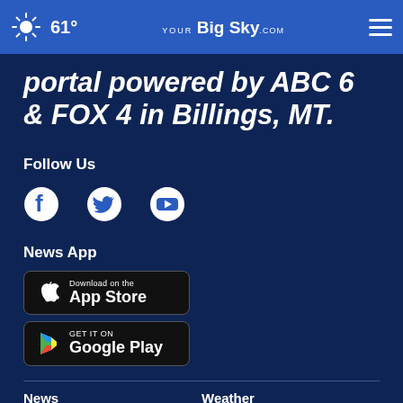61° YourBigSky.com
portal powered by ABC 6 & FOX 4 in Billings, MT.
Follow Us
[Figure (illustration): Social media icons: Facebook, Twitter, YouTube]
News App
[Figure (illustration): Download on the App Store badge (black button)]
[Figure (illustration): GET IT ON Google Play badge (black button)]
News    Weather